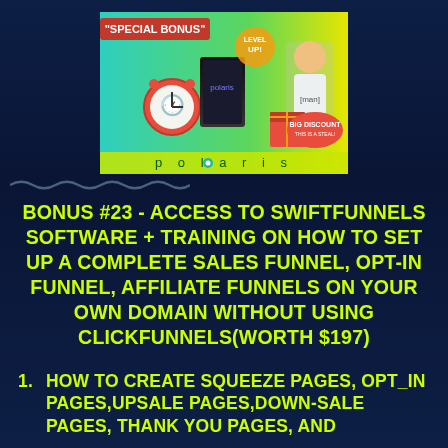[Figure (illustration): Promotional banner image for 'Polaris' software showing a red alarm clock, a product box, a man in a white shirt, gift box with bow, 'Big Discount' badge, and 'SPECIAL BONUS' text on an orange-red ribbon. Teal and yellow background with 'polaris' branding at bottom.]
BONUS #23 - ACCESS TO SWIFTFUNNELS SOFTWARE + TRAINING ON HOW TO SET UP A COMPLETE SALES FUNNEL, OPT-IN FUNNEL, AFFILIATE FUNNELS ON YOUR OWN DOMAIN WITHOUT USING CLICKFUNNELS(WORTH $197)
HOW TO CREATE SQUEEZE PAGES, OPT_IN PAGES,UPSALE PAGES,DOWN-SALE PAGES, THANK YOU PAGES, AND